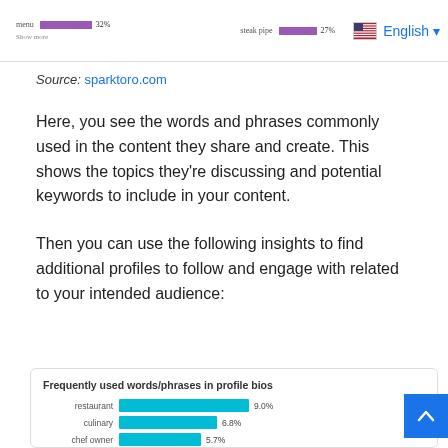[Figure (screenshot): Top strip showing partial bar chart thumbnails and English language selector with flag]
Source: sparktoro.com
Here, you see the words and phrases commonly used in the content they share and create. This shows the topics they’re discussing and potential keywords to include in your content.
Then you can use the following insights to find additional profiles to follow and engage with related to your intended audience:
[Figure (bar-chart): Frequently used words/phrases in profile bios]